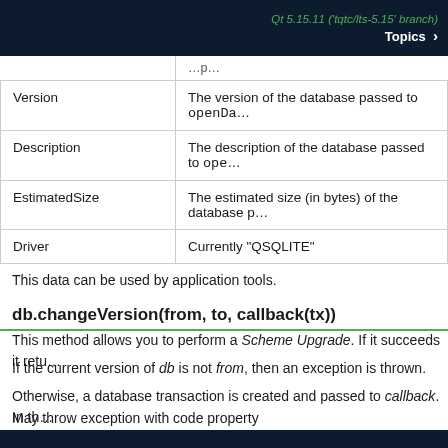Qt 5.15.11 ('tqtc/lts-5.15' branch) | Topics
| Property | Description |
| --- | --- |
| Version | The version of the database passed to openDa… |
| Description | The description of the database passed to ope… |
| EstimatedSize | The estimated size (in bytes) of the database p… |
| Driver | Currently "QSQLITE" |
This data can be used by application tools.
db.changeVersion(from, to, callback(tx))
This method allows you to perform a Scheme Upgrade. If it succeeds it retu…
If the current version of db is not from, then an exception is thrown.
Otherwise, a database transaction is created and passed to callback. In th…
May throw exception with code property SQLException.DATABASE_ERR o…
See example below.